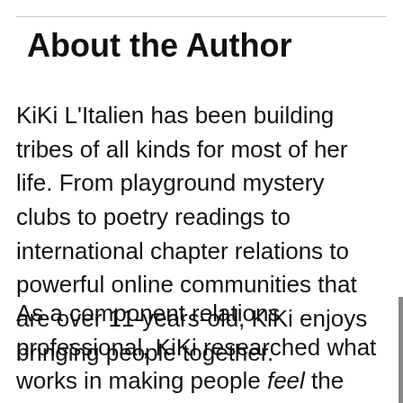About the Author
KiKi L'Italien has been building tribes of all kinds for most of her life. From playground mystery clubs to poetry readings to international chapter relations to powerful online communities that are over 11-years-old, KiKi enjoys bringing people together.
As a component relations professional, KiKi researched what works in making people feel the value of community, what inspires them to join in the first place, and